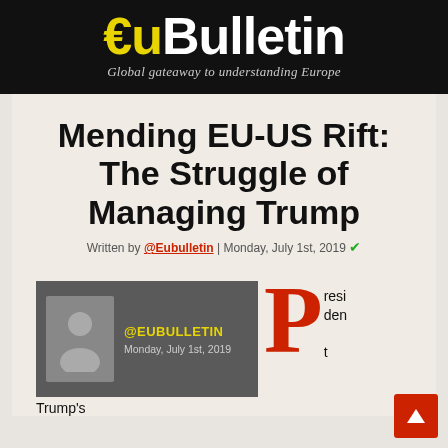€uBulletin — Global gateaway to understanding Europe
Mending EU-US Rift: The Struggle of Managing Trump
Written by @Eubulletin | Monday, July 1st, 2019
[Figure (other): Author card showing avatar placeholder icon with handle @EUBULLETIN and date Monday, July 1st, 2019]
President Trump's